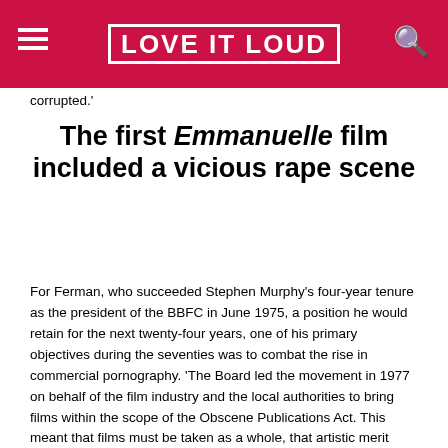LOVE IT LOUD
corrupted.'
The first Emmanuelle film included a vicious rape scene
For Ferman, who succeeded Stephen Murphy's four-year tenure as the president of the BBFC in June 1975, a position he would retain for the next twenty-four years, one of his primary objectives during the seventies was to combat the rise in commercial pornography. 'The Board led the movement in 1977 on behalf of the film industry and the local authorities to bring films within the scope of the Obscene Publications Act. This meant that films must be taken as a whole, that artistic merit could be argued in defence, and that the test of criminality was not offensiveness but actual harm to the morality of a significant proportion of the likely audience,' he explained in a 1979 article for Films Illustrated. 'The first Emmanuelle film included a vicious rape scene in the last reel in which the heroine, as part of her sexual education, was